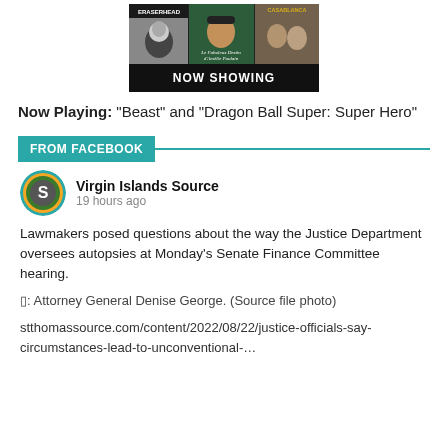[Figure (photo): NOW SHOWING banner with movie posters: Eraserhead, Amelie, Casablanca]
Now Playing: “Beast” and “Dragon Ball Super: Super Hero”
FROM FACEBOOK
[Figure (logo): Virgin Islands Source circular logo with letter S]
Virgin Islands Source
19 hours ago
Lawmakers posed questions about the way the Justice Department oversees autopsies at Monday’s Senate Finance Committee hearing.
□: Attorney General Denise George. (Source file photo)
stthomassource.com/content/2022/08/22/justice-officials-say-circumstances-lead-to-unconventional-…